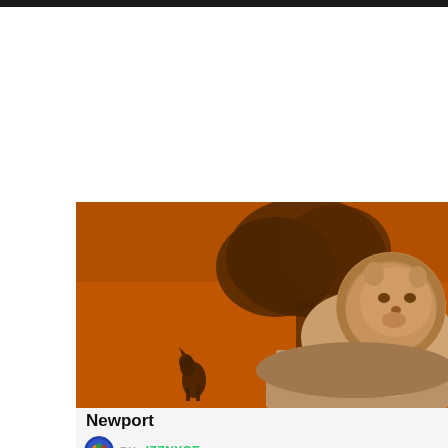[Figure (photo): A stone lion statue photographed under dramatic orange/amber sky with trees in the background, and a small animal figure in the lower left. The entire scene is bathed in deep orange light.]
Newport
BY: IZZNYCE
00:00  00:00